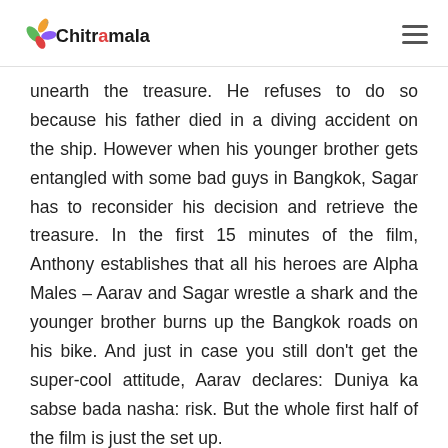Chitramala
unearth the treasure. He refuses to do so because his father died in a diving accident on the ship. However when his younger brother gets entangled with some bad guys in Bangkok, Sagar has to reconsider his decision and retrieve the treasure. In the first 15 minutes of the film, Anthony establishes that all his heroes are Alpha Males – Aarav and Sagar wrestle a shark and the younger brother burns up the Bangkok roads on his bike. And just in case you still don't get the super-cool attitude, Aarav declares: Duniya ka sabse bada nasha: risk. But the whole first half of the film is just the set up.
Nobody goes near the ship. And when they eventually